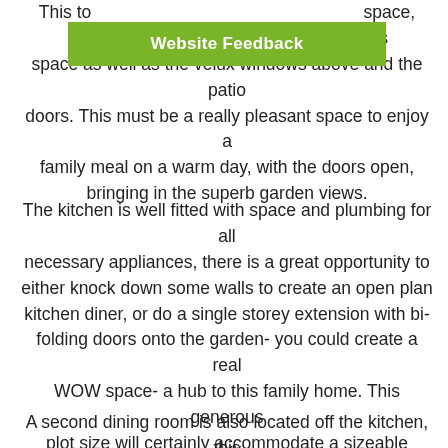This to [space,] the lig [of this] space as well as the velux windows above and the patio doors. This must be a really pleasant space to enjoy a family meal on a warm day, with the doors open, bringing in the superb garden views.
The kitchen is well fitted with space and plumbing for all necessary appliances, there is a great opportunity to either knock down some walls to create an open plan kitchen diner, or do a single storey extension with bi-folding doors onto the garden- you could create a real WOW space- a hub to this family home. This generous plot size will certainly accommodate a sizeable extension (permission granted- of course).
A second dining room is also located off the kitchen, this